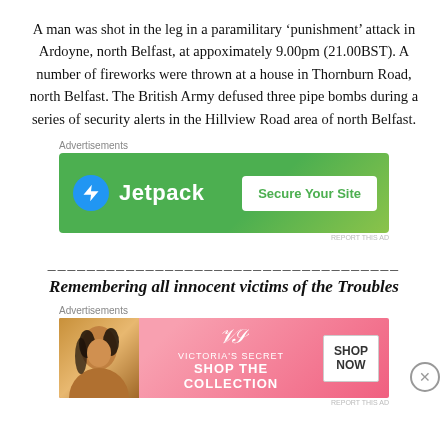A man was shot in the leg in a paramilitary ‘punishment’ attack in Ardoyne, north Belfast, at appoximately 9.00pm (21.00BST). A number of fireworks were thrown at a house in Thornburn Road, north Belfast. The British Army defused three pipe bombs during a series of security alerts in the Hillview Road area of north Belfast.
[Figure (other): Jetpack advertisement banner: green background with Jetpack logo on left and 'Secure Your Site' button on right]
____________________________________
Remembering all innocent victims of the Troubles
[Figure (other): Victoria's Secret advertisement banner: pink background with woman photo on left, VS logo and 'SHOP THE COLLECTION' text in center, 'SHOP NOW' button on right]